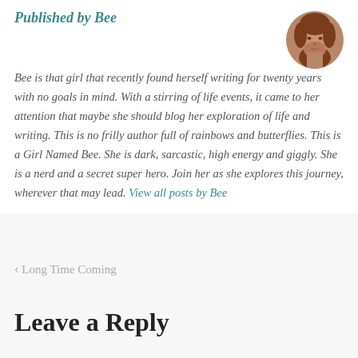Published by Bee
Bee is that girl that recently found herself writing for twenty years with no goals in mind. With a stirring of life events, it came to her attention that maybe she should blog her exploration of life and writing. This is no frilly author full of rainbows and butterflies. This is a Girl Named Bee. She is dark, sarcastic, high energy and giggly. She is a nerd and a secret super hero. Join her as she explores this journey, wherever that may lead. View all posts by Bee
[Figure (photo): Circular avatar photo of Bee, a woman with reddish-brown hair]
< Long Time Coming
Leave a Reply